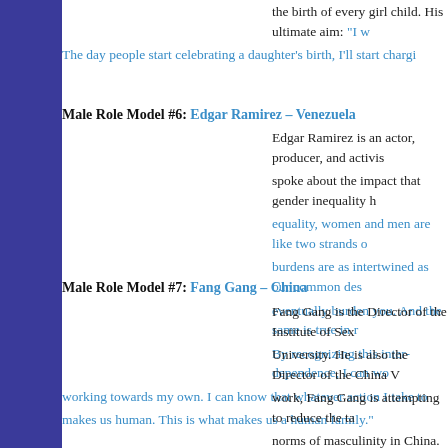the birth of every girl child. His ultimate aim: “I w[ant to celebrate the birth of every girl child]”
The day people start celebrating a daughter’s birth, I’ll start chargi[ng...]
Male Role Model #6: Edgar Ramirez – Venezuela
Edgar Ramirez is an actor, producer, and activis[t who] spoke about the impact that gender inequality h[as...] equality, women and men are like two strands o[f...] burdens are as intertwined as our common des[tiny...] eventually burden you. And the same is true in [reverse.] By recognizing this inter-dependence, I can wo[rk towards] working towards my own. I can know that whatever action I take to[wards others] makes us human. This is what makes us a human family.”
Male Role Model #7: Fang Gang – China
Fang Gang is the Director of the Institute of Sex[uality at Beijing] University. He is also the Director of the China V[olunteer...] work, Fang Gang is attempting to reduce the ta[boo around] norms of masculinity in China. Sharing his view[s...] encourage men to be involved in promoting gen[der equality,] sharing housework, and fighting against job dis[crimination.] people who committed violence and their victims, now we want to g[o further...]